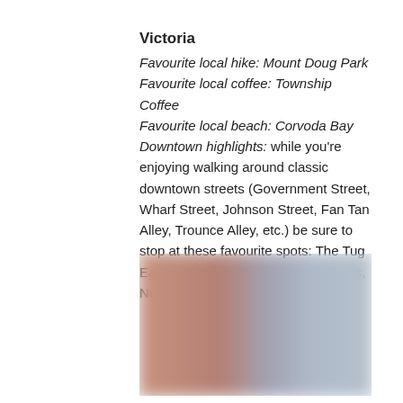Victoria
Favourite local hike: Mount Doug Park
Favourite local coffee: Township Coffee
Favourite local beach: Corvoda Bay
Downtown highlights: while you're enjoying walking around classic downtown streets (Government Street, Wharf Street, Johnson Street, Fan Tan Alley, Trounce Alley, etc.) be sure to stop at these favourite spots: The Tug Eatery, Munroe Books, Russel Books, Nubo Sushi, and Migration.
[Figure (photo): Blurred outdoor photograph, showing warm brownish-orange tones on the left and grayish-blue tones on the right, appearing to be a landscape or street scene.]